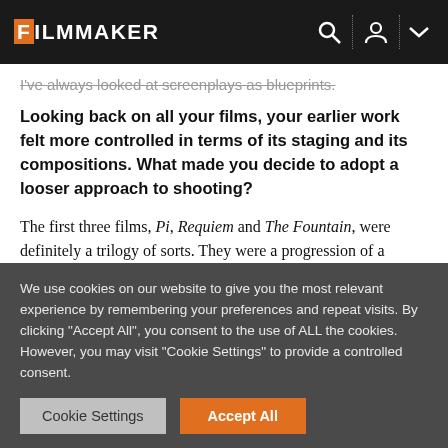FILMMAKER
I've always looked at screenplays as blueprints.
Looking back on all your films, your earlier work felt more controlled in terms of its staging and its compositions. What made you decide to adopt a looser approach to shooting?
The first three films, Pi, Requiem and The Fountain, were definitely a trilogy of sorts. They were a progression of a
We use cookies on our website to give you the most relevant experience by remembering your preferences and repeat visits. By clicking "Accept All", you consent to the use of ALL the cookies. However, you may visit "Cookie Settings" to provide a controlled consent.